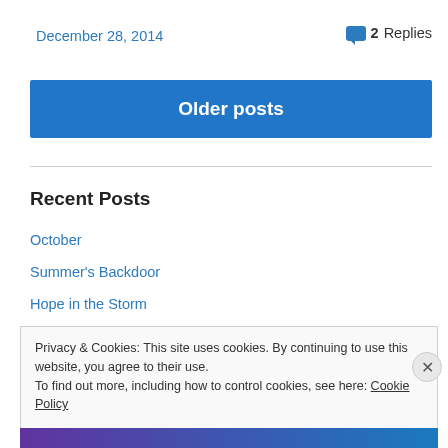December 28, 2014
2 Replies
Older posts
Recent Posts
October
Summer's Backdoor
Hope in the Storm
Privacy & Cookies: This site uses cookies. By continuing to use this website, you agree to their use.
To find out more, including how to control cookies, see here: Cookie Policy
Close and accept